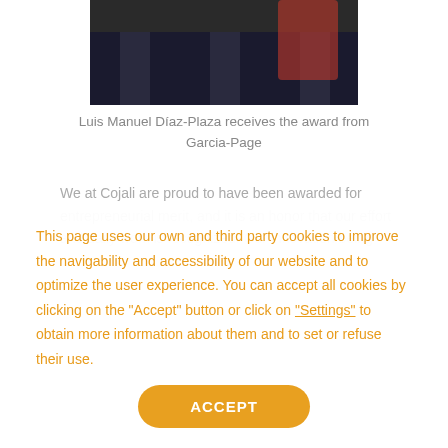[Figure (photo): Group of people standing together, partially cropped photo showing figures from waist down in formal attire, with a red banner or backdrop visible]
Luis Manuel Díaz-Plaza receives the award from Garcia-Page
We at Cojali are proud to have been awarded for entrepreneurial merit, and it is an honor that our effort and daily work is recognized. Our innovation being
This page uses our own and third party cookies to improve the navigability and accessibility of our website and to optimize the user experience. You can accept all cookies by clicking on the "Accept" button or click on "Settings" to obtain more information about them and to set or refuse their use.
ACCEPT